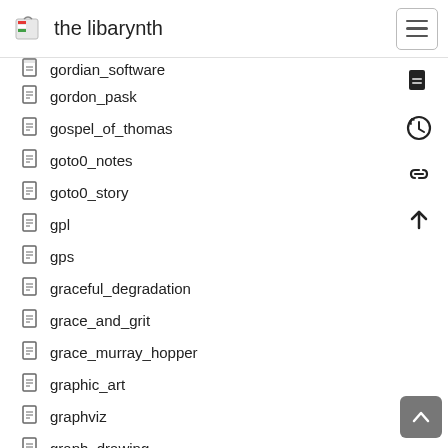the libarynth
gordian_software
gordon_pask
gospel_of_thomas
goto0_notes
goto0_story
gpl
gps
graceful_degradation
grace_and_grit
grace_murray_hopper
graphic_art
graphviz
graph_drawing
graph_layout
gravitys_rainbow
grazing_hermits
grazing_on_endless_webdata
greatest_hacker_of_all_time
great_ape_project